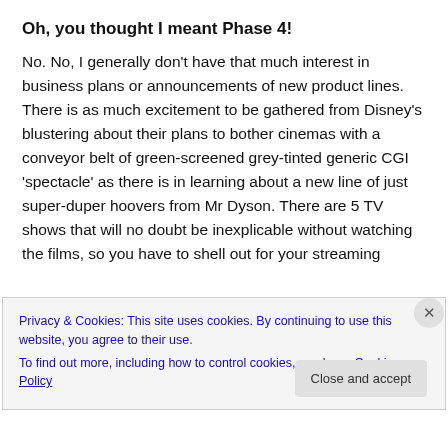Oh, you thought I meant Phase 4!
No. No, I generally don't have that much interest in business plans or announcements of new product lines. There is as much excitement to be gathered from Disney's blustering about their plans to bother cinemas with a conveyor belt of green-screened grey-tinted generic CGI 'spectacle' as there is in learning about a new line of just super-duper hoovers from Mr Dyson. There are 5 TV shows that will no doubt be inexplicable without watching the films, so you have to shell out for your streaming
Privacy & Cookies: This site uses cookies. By continuing to use this website, you agree to their use.
To find out more, including how to control cookies, see here: Cookie Policy